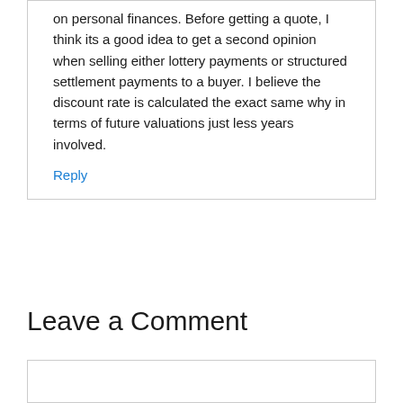on personal finances. Before getting a quote, I think its a good idea to get a second opinion when selling either lottery payments or structured settlement payments to a buyer. I believe the discount rate is calculated the exact same why in terms of future valuations just less years involved.
Reply
Leave a Comment